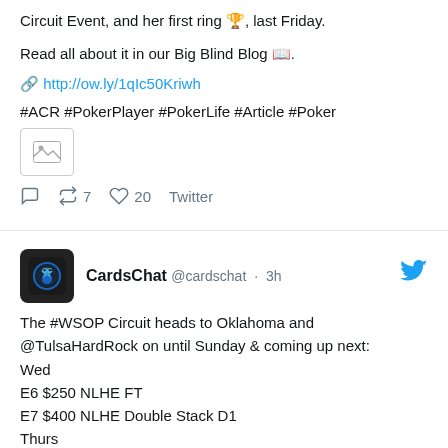Circuit Event, and her first ring 🏆, last Friday.
Read all about it in our Big Blind Blog 📖.
🔗 http://ow.ly/1qIc50Kriwh
#ACR #PokerPlayer #PokerLife #Article #Poker
[Figure (other): Image thumbnail placeholder icon]
💬  🔁 7  ♡ 20  Twitter
CardsChat @cardschat · 3h
The #WSOP Circuit heads to Oklahoma and @TulsaHardRock on until Sunday & coming up next:
Wed
E6 $250 NLHE FT
E7 $400 NLHE Double Stack D1
Thurs
E7 $400 NLHE Double Stack FT